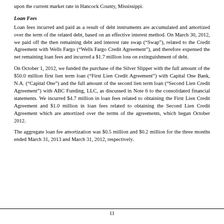upon the current market rate in Hancock County, Mississippi.
Loan Fees
Loan fees incurred and paid as a result of debt instruments are accumulated and amortized over the term of the related debt, based on an effective interest method. On March 30, 2012, we paid off the then remaining debt and interest rate swap (“Swap”), related to the Credit Agreement with Wells Fargo (“Wells Fargo Credit Agreement”), and therefore expensed the net remaining loan fees and incurred a $1.7 million loss on extinguishment of debt.
On October 1, 2012, we funded the purchase of the Silver Slipper with the full amount of the $50.0 million first lien term loan (“First Lien Credit Agreement”) with Capital One Bank, N.A. (“Capital One”) and the full amount of the second lien term loan (“Second Lien Credit Agreement”) with ABC Funding, LLC, as discussed in Note 6 to the consolidated financial statements. We incurred $4.7 million in loan fees related to obtaining the First Lien Credit Agreement and $1.0 million in loan fees related to obtaining the Second Lien Credit Agreement which are amortized over the terms of the agreements, which began October 2012.
The aggregate loan fee amortization was $0.5 million and $0.2 million for the three months ended March 31, 2013 and March 31, 2012, respectively.
11